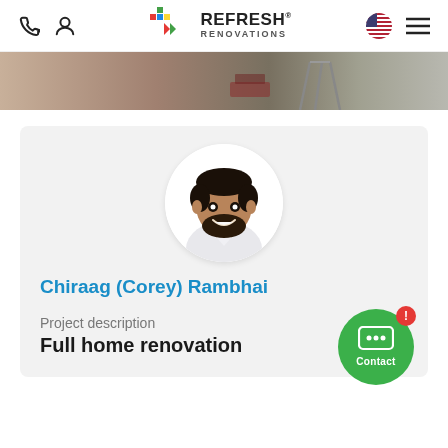Refresh Renovations
[Figure (photo): Hero banner photo showing an interior renovation scene, partially cropped at top]
[Figure (photo): Circular profile photo of Chiraag (Corey) Rambhai, a smiling man in a white shirt]
Chiraag (Corey) Rambhai
Project description
Full home renovation